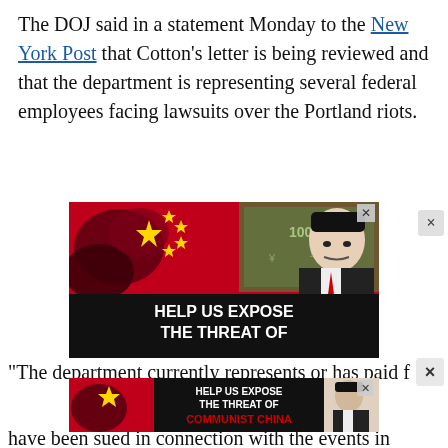The DOJ said in a statement Monday to the New York Post that Cotton's letter is being reviewed and that the department is representing several federal employees facing lawsuits over the Portland riots.
[Figure (photo): Advertisement image: Chinese flag with stars, person in suit, red/black design with text 'HELP US EXPOSE THE THREAT OF COMMUNIST CHINA'. Below: 'Join Townhall VIP  Use promo code CHICOM']
"The department currently represents or has paid f
[Figure (photo): Banner advertisement: small version of the Townhall ad 'HELP US EXPOSE THE THREAT OF COMMUNIST CHINA' with close X button]
have been sued in connection with the events in